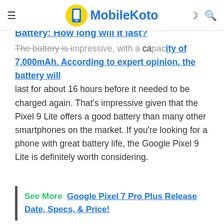MobileKoto
Battery: How long will it last?
The battery is impressive, with a capacity of 7,000mAh. According to expert opinion, the battery will last for about 16 hours before it needed to be charged again. That's impressive given that the Pixel 9 Lite offers a good battery than many other smartphones on the market. If you're looking for a phone with great battery life, the Google Pixel 9 Lite is definitely worth considering.
See More  Google Pixel 7 Pro Plus Release Date, Specs, & Price!